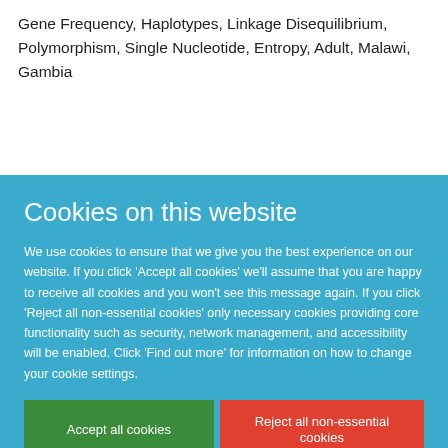Gene Frequency, Haplotypes, Linkage Disequilibrium, Polymorphism, Single Nucleotide, Entropy, Adult, Malawi, Gambia
Cookies on this website
We use cookies to ensure that we give you the best experience on our website. If you click 'Accept all cookies' we'll assume that you are happy to receive all cookies and you won't see this message again. If you click 'Reject all non-essential cookies' only necessary cookies providing core functionality such as security, network management, and accessibility will be enabled. Click 'Find out more' for information on how to change your cookie settings.
Accept all cookies
Reject all non-essential cookies
Find out more